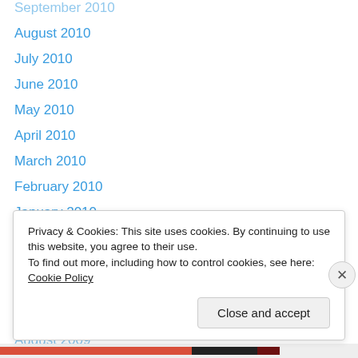September 2010
August 2010
July 2010
June 2010
May 2010
April 2010
March 2010
February 2010
January 2010
December 2009
November 2009
October 2009
September 2009
August 2009
Privacy & Cookies: This site uses cookies. By continuing to use this website, you agree to their use. To find out more, including how to control cookies, see here: Cookie Policy
Close and accept